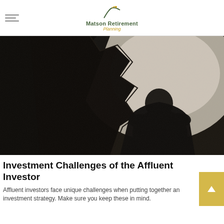Matson Retirement Planning
[Figure (photo): Black and white dramatic photo of a man seen from behind, facing a wall with a large dark shadow cast to the left side, creating a moody atmosphere.]
Investment Challenges of the Affluent Investor
Affluent investors face unique challenges when putting together an investment strategy. Make sure you keep these in mind.